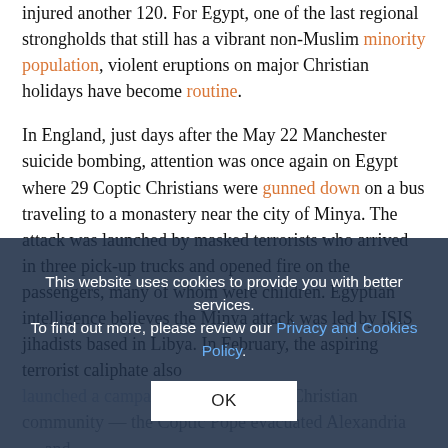injured another 120. For Egypt, one of the last regional strongholds that still has a vibrant non-Muslim minority population, violent eruptions on major Christian holidays have become routine.
In England, just days after the May 22 Manchester suicide bombing, attention was once again on Egypt where 29 Coptic Christians were gunned down on a bus traveling to a monastery near the city of Minya. The attack was launched by masked terrorists who arrived in three pick-up trucks and opened fire on the passengers, many of whom were children. Egyptian intelligence believes the Minya attack was led by ISIS jihadists based in Libya. In February, the aspiring terrorist caliphate also launched a campaign against Egypt's Christian community — the Coptic Pope evacuated Alexandria — and Egypt's President Sisi responded by ordering air strikes against terrorist camps, along with a televised warning against sponsored terrorism.
President Sisi's response to the brutal slaughter of
This website uses cookies to provide you with better services. To find out more, please review our Privacy and Cookies Policy.